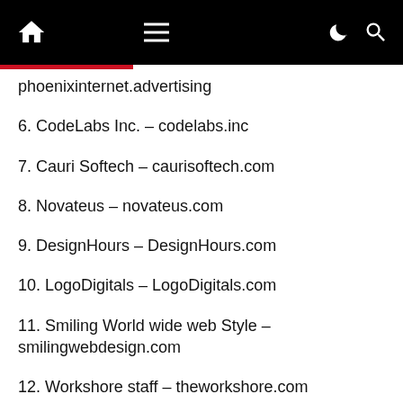Navigation header with home, menu, dark mode, and search icons
phoenixinternet.advertising
6. CodeLabs Inc. – codelabs.inc
7. Cauri Softech – caurisoftech.com
8. Novateus – novateus.com
9. DesignHours – DesignHours.com
10. LogoDigitals – LogoDigitals.com
11. Smiling World wide web Style – smilingwebdesign.com
12. Workshore staff – theworkshore.com
13. Citro Digital – citrodigital.com
14. In Motion Advertising and marketing –